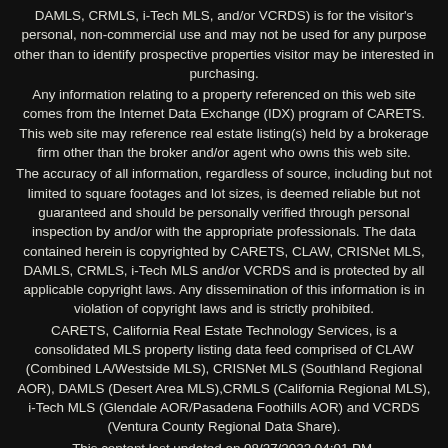DAMLS, CRMLS, i-Tech MLS, and/or VCRDS) is for the visitor's personal, non-commercial use and may not be used for any purpose other than to identify prospective properties visitor may be interested in purchasing.
Any information relating to a property referenced on this web site comes from the Internet Data Exchange (IDX) program of CARETS. This web site may reference real estate listing(s) held by a brokerage firm other than the broker and/or agent who owns this web site.
The accuracy of all information, regardless of source, including but not limited to square footages and lot sizes, is deemed reliable but not guaranteed and should be personally verified through personal inspection by and/or with the appropriate professionals. The data contained herein is copyrighted by CARETS, CLAW, CRISNet MLS, DAMLS, CRMLS, i-Tech MLS and/or VCRDS and is protected by all applicable copyright laws. Any dissemination of this information is in violation of copyright laws and is strictly prohibited.
CARETS, California Real Estate Technology Services, is a consolidated MLS property listing data feed comprised of CLAW (Combined LA/Westside MLS), CRISNet MLS (Southland Regional AOR), DAMLS (Desert Area MLS),CRMLS (California Regional MLS), i-Tech MLS (Glendale AOR/Pasadena Foothills AOR) and VCRDS (Ventura County Regional Data Share).
This content last updated on 08/27/2022 04:01 PM.